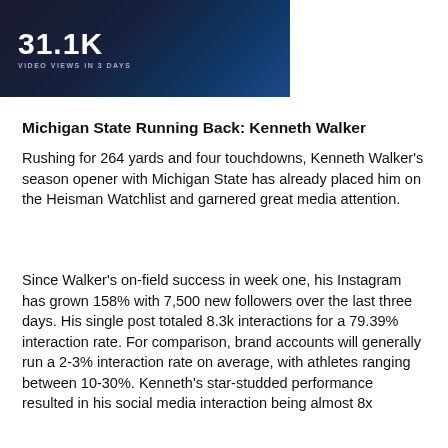[Figure (screenshot): Dark blue/black background image showing '31.1K' in large white bold text with label 'VIDEO VIEWS IN 3 DAYS' below it, alongside a mobile phone mockup]
Michigan State Running Back: Kenneth Walker
Rushing for 264 yards and four touchdowns, Kenneth Walker's season opener with Michigan State has already placed him on the Heisman Watchlist and garnered great media attention.
Since Walker's on-field success in week one, his Instagram has grown 158% with 7,500 new followers over the last three days. His single post totaled 8.3k interactions for a 79.39% interaction rate. For comparison, brand accounts will generally run a 2-3% interaction rate on average, with athletes ranging between 10-30%. Kenneth's star-studded performance resulted in his social media interaction being almost 8x